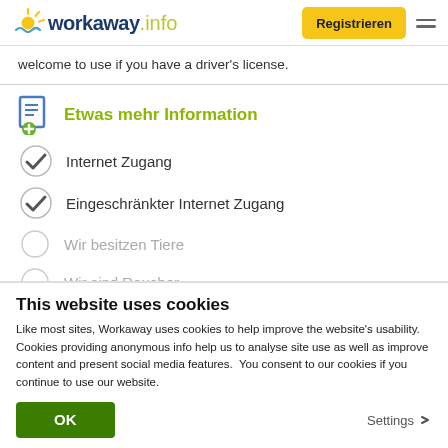workaway.info – Registrieren
welcome to use if you have a driver's license.
Etwas mehr Information
Internet Zugang
Eingeschränkter Internet Zugang
Wir besitzen Tiere
Wir sind Raucher
This website uses cookies
Like most sites, Workaway uses cookies to help improve the website's usability. Cookies providing anonymous info help us to analyse site use as well as improve content and present social media features.  You consent to our cookies if you continue to use our website.
OK
Settings